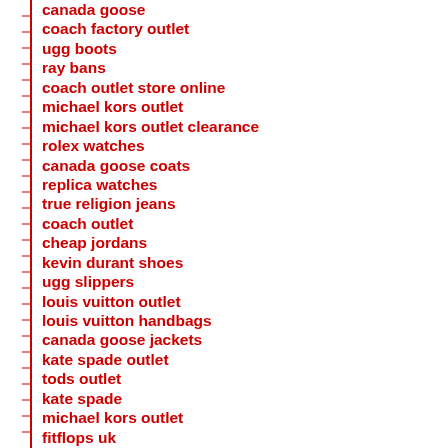canada goose
coach factory outlet
ugg boots
ray bans
coach outlet store online
michael kors outlet
michael kors outlet clearance
rolex watches
canada goose coats
replica watches
true religion jeans
coach outlet
cheap jordans
kevin durant shoes
ugg slippers
louis vuitton outlet
louis vuitton handbags
canada goose jackets
kate spade outlet
tods outlet
kate spade
michael kors outlet
fitflops uk
coach outlet store online
toms outlet
tory burch sale
oakley sunglasses